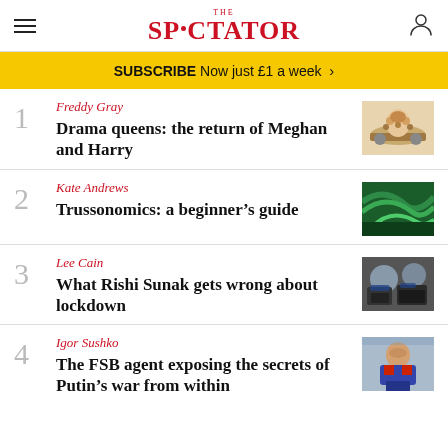THE SPECTATOR
SUBSCRIBE Now just £1 a week >
1 Freddy Gray
Drama queens: the return of Meghan and Harry
2 Kate Andrews
Trussonomics: a beginner's guide
3 Lee Cain
What Rishi Sunak gets wrong about lockdown
4 Igor Sushko
The FSB agent exposing the secrets of Putin's war from within